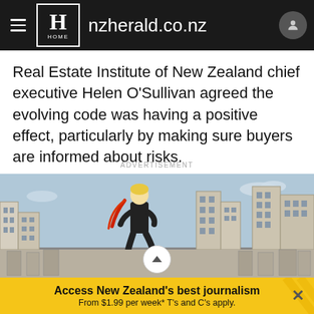nzherald.co.nz
Real Estate Institute of New Zealand chief executive Helen O'Sullivan agreed the evolving code was having a positive effect, particularly by making sure buyers are informed about risks.
ADVERTISEMENT
[Figure (illustration): Cartoon illustration of a person in a black suit with a red cape standing heroically on a ledge overlooking a city skyline with buildings and clouds in the background.]
Access New Zealand's best journalism From $1.99 per week* T's and C's apply.